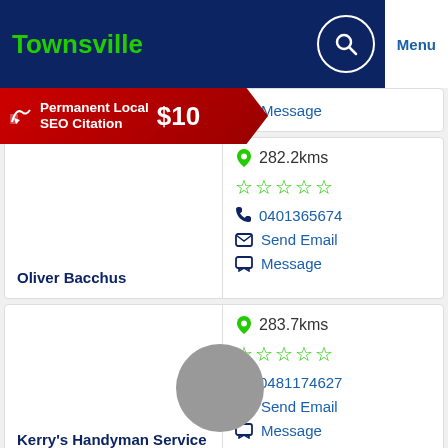Townsville | Menu
[Figure (screenshot): Red banner advertisement: Permanent Local SEO Citation $10]
Message
Oliver Bacchus | 282.2kms | 0401365674 | Send Email | Message
Kerry's Handyman Service | 283.7kms | 0481174627 | Send Email | Message